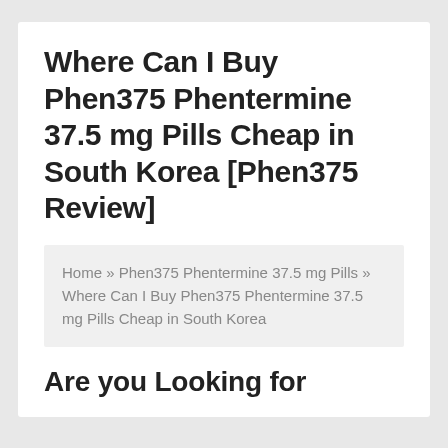Where Can I Buy Phen375 Phentermine 37.5 mg Pills Cheap in South Korea [Phen375 Review]
Home » Phen375 Phentermine 37.5 mg Pills » Where Can I Buy Phen375 Phentermine 37.5 mg Pills Cheap in South Korea
Are you Looking for